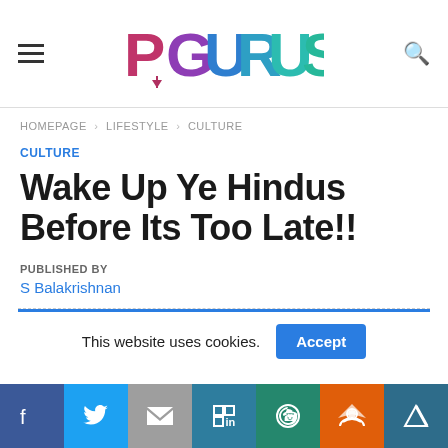PGURUS
HOMEPAGE > LIFESTYLE > CULTURE
CULTURE
Wake Up Ye Hindus Before Its Too Late!!
PUBLISHED BY
S Balakrishnan
This website uses cookies. Accept